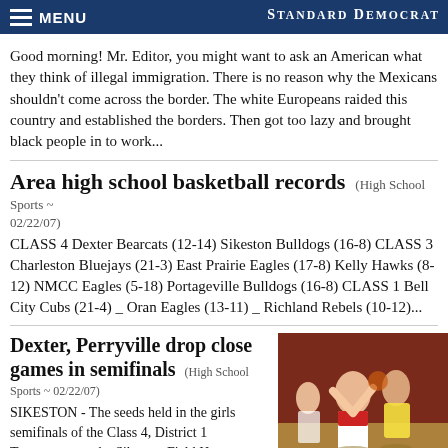MENU  Standard Democrat
Good morning! Mr. Editor, you might want to ask an American what they think of illegal immigration. There is no reason why the Mexicans shouldn't come across the border. The white Europeans raided this country and established the borders. Then got too lazy and brought black people in to work...
Area high school basketball records (High School Sports ~ 02/22/07)
CLASS 4 Dexter Bearcats (12-14) Sikeston Bulldogs (16-8) CLASS 3 Charleston Bluejays (21-3) East Prairie Eagles (17-8) Kelly Hawks (8-12) NMCC Eagles (5-18) Portageville Bulldogs (16-8) CLASS 1 Bell City Cubs (21-4) _ Oran Eagles (13-11) _ Richland Rebels (10-12)...
Dexter, Perryville drop close games in semifinals (High School Sports ~ 02/22/07)
[Figure (photo): Basketball action photo showing girls playing in the Class 4 District 1 Tournament at Sikeston Field House]
SIKESTON - The seeds held in the girls semifinals of the Class 4, District 1 Tournament at the Sikeston Field House on Wednesday night. Both games were exciting, down-to-the-affairs that had the crowds on the edge of their seats. In the first semifinal